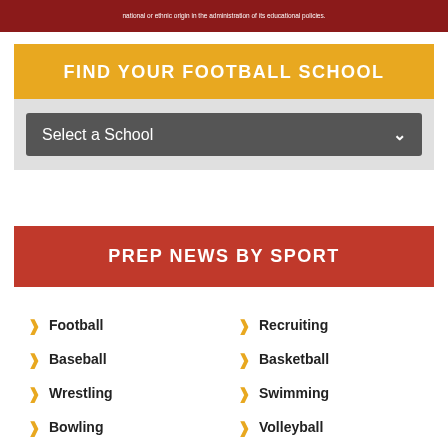national or ethnic origin in the administration of its educational policies.
FIND YOUR FOOTBALL SCHOOL
Select a School
PREP NEWS BY SPORT
Football
Recruiting
Baseball
Basketball
Wrestling
Swimming
Bowling
Volleyball
Soccer
Softball
Track
Cross Country